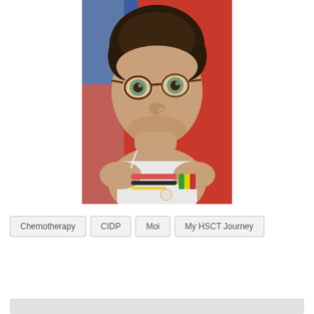[Figure (photo): Selfie of a young woman with short curly hair, wearing large tortoise-shell glasses and a white sleeveless top. She has a nose ring and is wearing colorful bracelets. Her chin rests on her hand. Background is red and blue.]
Chemotherapy   CIDP   Moi   My HSCT Journey